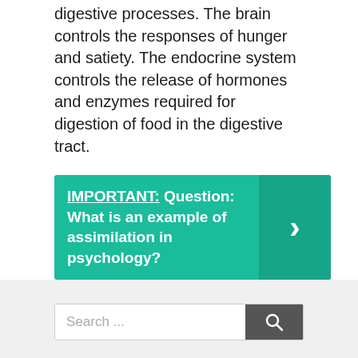digestive processes. The brain controls the responses of hunger and satiety. The endocrine system controls the release of hormones and enzymes required for digestion of food in the digestive tract.
IMPORTANT: Question: What is an example of assimilation in psychology?
Illness
Search ...